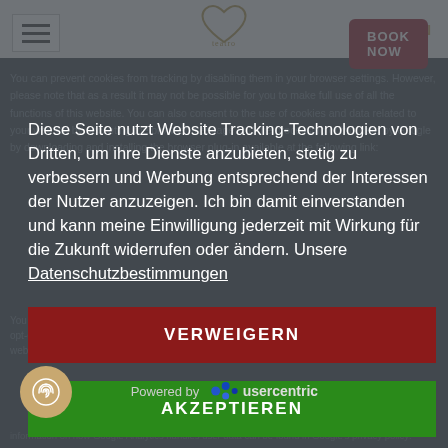[Figure (screenshot): Website screenshot with cookie consent modal overlay. Top bar has language switcher DE | EN, hamburger menu icon, heart logo, and BOOK NOW button in dark red. Modal contains German tracking consent text, a red VERWEIGERN button, green AKZEPTIEREN button, and white MEHR button. Bottom shows Powered by usercentrics and a fingerprint icon button.]
DE | EN
Diese Seite nutzt Website Tracking-Technologien von Dritten, um ihre Dienste anzubieten, stetig zu verbessern und Werbung entsprechend der Interessen der Nutzer anzuzeigen. Ich bin damit einverstanden und kann meine Einwilligung jederzeit mit Wirkung für die Zukunft widerrufen oder ändern. Unsere Datenschutzbestimmungen
VERWEIGERN
AKZEPTIEREN
MEHR
Powered by usercentrics